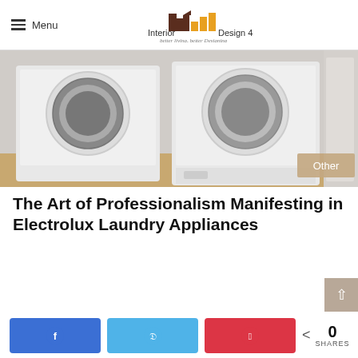Menu | Interior Design 4 | better living, better Designing
[Figure (photo): Photo of laundry room with front-loading washing machines and white cabinet doors]
The Art of Professionalism Manifesting in Electrolux Laundry Appliances
[Figure (infographic): Social share bar with Facebook, Twitter, Pinterest buttons and 0 SHARES count]